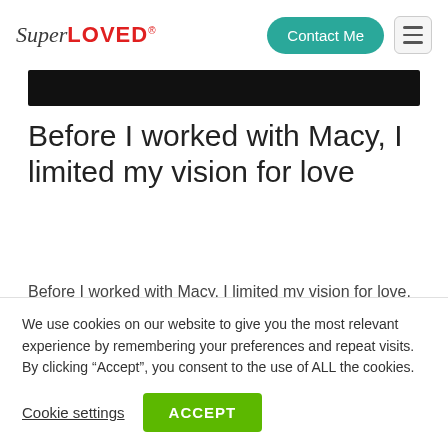SuperLOVED — Contact Me
[Figure (other): Black image bar / cropped photo at top of article]
Before I worked with Macy, I limited my vision for love
Before I worked with Macy, I limited my vision for love. While compromise is a part of every relationship, I was willing to compromise in areas that are now deal-
We use cookies on our website to give you the most relevant experience by remembering your preferences and repeat visits. By clicking “Accept”, you consent to the use of ALL the cookies.
Cookie settings   ACCEPT